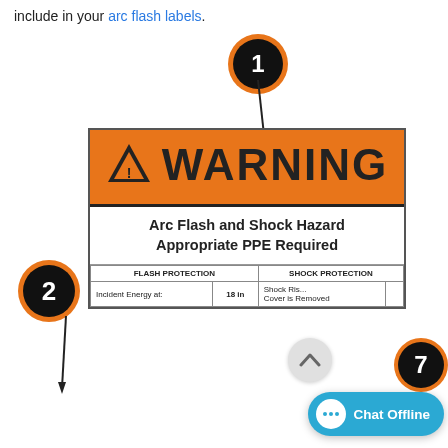include in your arc flash labels.
[Figure (infographic): Arc flash warning label diagram with numbered callouts. Shows a WARNING banner in orange with black text, a triangle warning symbol, subtitle 'Arc Flash and Shock Hazard Appropriate PPE Required', and a table with FLASH PROTECTION and SHOCK PROTECTION columns. Numbered orange/black circle badges (1, 2, 7) point to different parts of the label. A chat offline button and chevron circle overlay the bottom right.]